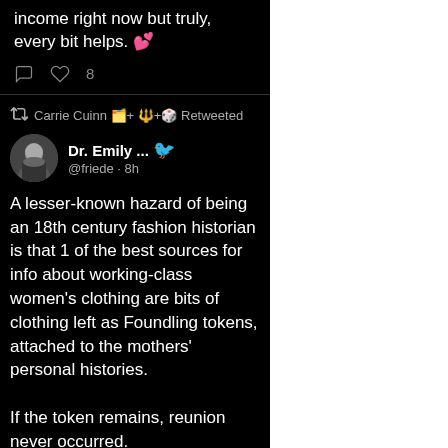income right now but truly, every bit helps. 💕
Carrie Cuinn 🗂️+ 🔱+🎲 Retweeted
Dr. Emily ... @friede · 8h
A lesser-known hazard of being an 18th century fashion historian is that 1 of the best sources for info about working-class women's clothing are bits of clothing left as Foundling tokens, attached to the mothers' personal histories.

If the token remains, reunion never occurred.